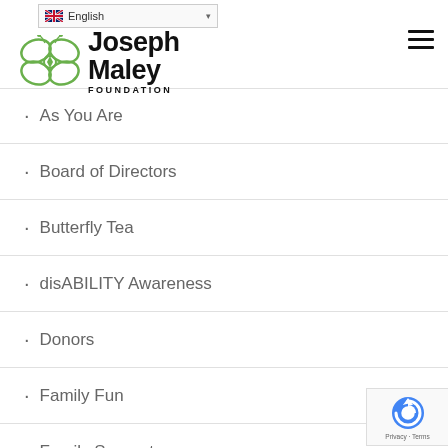Joseph Maley Foundation - English language selector and navigation menu
[Figure (logo): Joseph Maley Foundation logo with green butterfly/flower SVG graphic and bold text 'Joseph Maley FOUNDATION']
As You Are
Board of Directors
Butterfly Tea
disABILITY Awareness
Donors
Family Fun
Family Support
Family-Fun